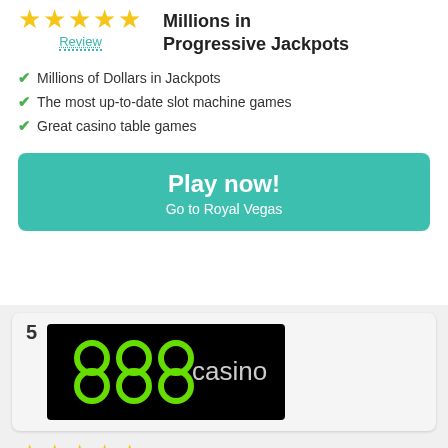★★★★★
Review
Millions in Progressive Jackpots
Millions of Dollars in Jackpots
The most up-to-date slot machine games
Great casino table games
Play now! Go to Royal Vegas
5
[Figure (logo): 888 casino logo — green 888 with 'casino' text on black background]
★★★★★
Review
8$ No deposit bonus
8$ or equivalent in no deposit bonus
Sports Section
Poker Room